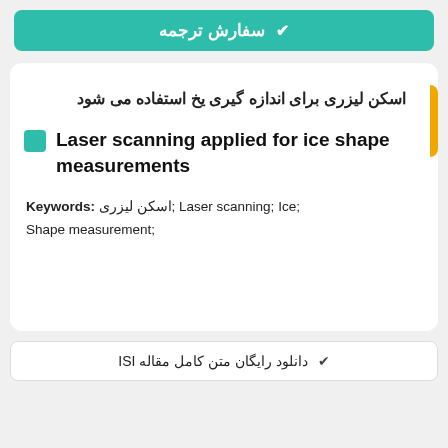✔ سفارش ترجمه
اسکن لیزری برای اندازه گیری یخ استفاده می شود
Laser scanning applied for ice shape measurements
Keywords: اسکن لیزری; Laser scanning; Ice; Shape measurement;
✔ دانلود رایگان متن کامل مقاله ISI